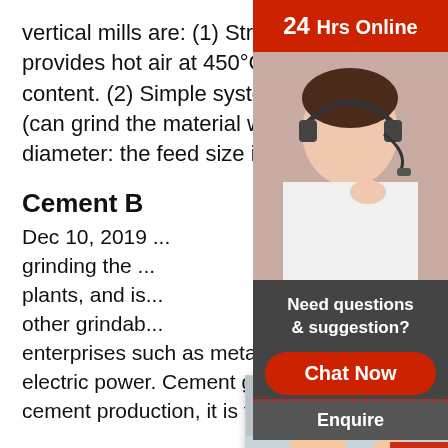vertical mills are: (1) Strong drying ability. The hot blast stove provides hot air at 450°C and can dry materials with 15% water content. (2) Simple system. The vertical roller mill has a big feed size (can grind the material with particle size of 5% of the grinding roller diameter: the feed size is ...
Cement B...
Dec 10, 2019 ... grinding the ... plants, and is ... other grindable ... enterprises such as metallurgy, chemical ... electric power. Cement grinding is the last ... cement production, it is to ...
[Figure (screenshot): Live Chat overlay widget showing workers in hard hats, LIVE CHAT text in red, Click for a Free Consultation, Chat now and Chat later buttons]
[Figure (photo): Customer service agent with headset on right sidebar, with 24 Hrs Online banner, Need questions & suggestion? box, Chat Now button, and Enquire footer]
Vertical roller mill - Wikipedia
Vertical roller mill is a kind of grinding ma... raw material, cement clinker, slag and co... features of simple structure and low cost...